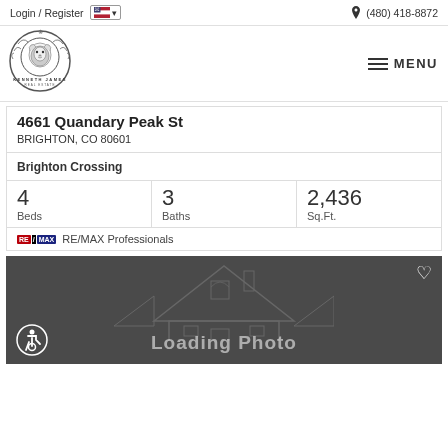Login / Register  🇺🇸 ▾  (480) 418-8872
[Figure (logo): Kenneth James Real Estate logo — circular crest with lion head and ornate border, text KENNETH JAMES REAL ESTATE below]
MENU
4661 Quandary Peak St
BRIGHTON, CO 80601
Brighton Crossing
| Beds | Baths | Sq.Ft. |
| --- | --- | --- |
| 4 | 3 | 2,436 |
RE/MAX Professionals
[Figure (photo): Dark grey background with faint house silhouette outline and 'Loading Photo' text overlay, heart icon top-right, accessibility icon bottom-left]